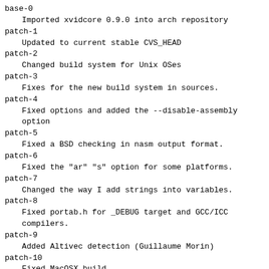base-0
    Imported xvidcore 0.9.0 into arch repository
patch-1
    Updated to current stable CVS_HEAD
patch-2
    Changed build system for Unix OSes
patch-3
    Fixes for the new build system in sources.
patch-4
    Fixed options and added the --disable-assembly option
patch-5
    Fixed a BSD checking in nasm output format.
patch-6
    Fixed the "ar" "s" option for some platforms.
patch-7
    Changed the way I add strings into variables.
patch-8
    Fixed portab.h for _DEBUG target and GCC/ICC compilers.
patch-9
    Added Altivec detection (Guillaume Morin)
patch-10
    Fixed MacOSX build.
patch-11
    Fixed WIN32/_MSC_VER confusion and updated MSVC libxvidcore.dsp project file.
patch-12
    DivX4 compatibility layer has been turned into an option (default:disable).